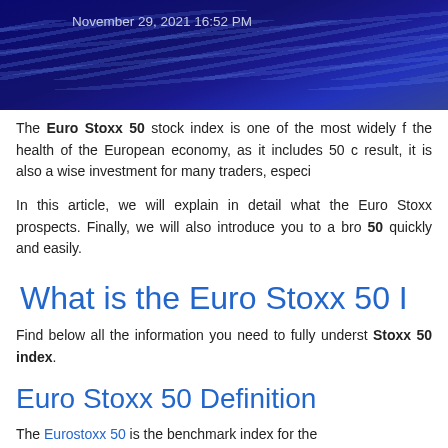November 29, 2021 16:52 PM
The Euro Stoxx 50 stock index is one of the most widely f… the health of the European economy, as it includes 50 c… result, it is also a wise investment for many traders, especi…
In this article, we will explain in detail what the Euro Stoxx… prospects. Finally, we will also introduce you to a bro… 50 quickly and easily.
What is the Euro Stoxx 50 I…
Find below all the information you need to fully underst… Stoxx 50 index.
Euro Stoxx 50 Definition
The Eurostoxx 50 is the benchmark index for the … EURO. Furthermore, 51.0 % for Euro…